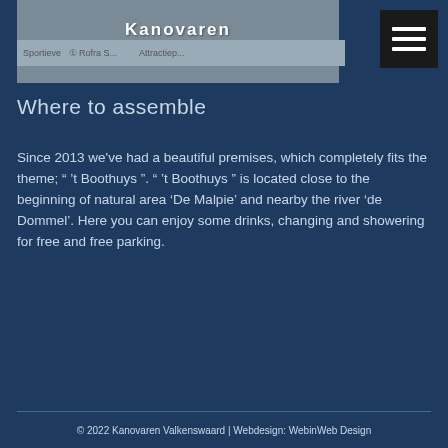Kanovaren Valkenswaard
Where to assemble
Since 2013 we've had a beautiful premises, which completely fits the theme; “ 't Boothuys ”. “ 't Boothuys ” is located close to the beginning of natural area ‘De Malpie’ and nearby the river ‘de Dommel’. Here you can enjoy some drinks, changing and showering for free and free parking.
© 2022 Kanovaren Valkenswaard | Webdesign: WebinWeb Design